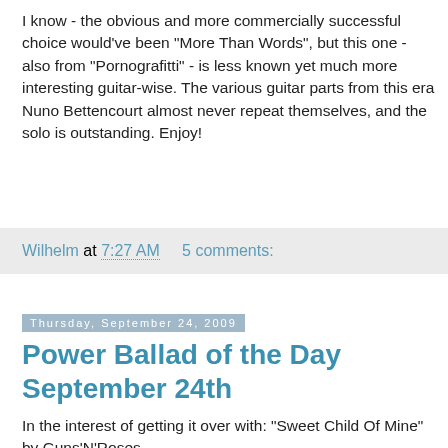I know - the obvious and more commercially successful choice would've been "More Than Words", but this one - also from "Pornografitti" - is less known yet much more interesting guitar-wise. The various guitar parts from this era Nuno Bettencourt almost never repeat themselves, and the solo is outstanding. Enjoy!
Wilhelm at 7:27 AM   5 comments:
Thursday, September 24, 2009
Power Ballad of the Day September 24th
In the interest of getting it over with: "Sweet Child Of Mine" by Guns'N'Roses